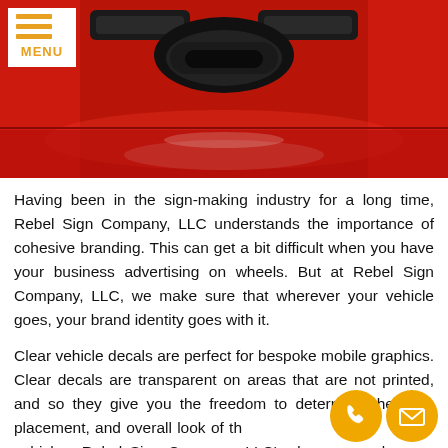[Figure (photo): Close-up photo of a red sports car hood with dark air intake vents, viewed from above/front.]
Having been in the sign-making industry for a long time, Rebel Sign Company, LLC understands the importance of cohesive branding. This can get a bit difficult when you have your business advertising on wheels. But at Rebel Sign Company, LLC, we make sure that wherever your vehicle goes, your brand identity goes with it.
Clear vehicle decals are perfect for bespoke mobile graphics. Clear decals are transparent on areas that are not printed, and so they give you the freedom to determine the size, placement, and overall look of the signs on your vehicle. Rebel Sign Company, LLC's decals can even